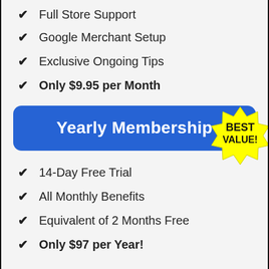Full Store Support
Google Merchant Setup
Exclusive Ongoing Tips
Only $9.95 per Month
[Figure (infographic): Blue rounded button labeled 'Yearly Membership' with a yellow starburst badge reading 'BEST VALUE!']
14-Day Free Trial
All Monthly Benefits
Equivalent of 2 Months Free
Only $97 per Year!